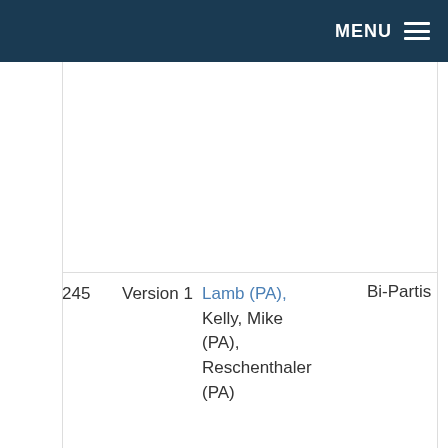MENU
| # | Version | Sponsors | Type |
| --- | --- | --- | --- |
| 245 | Version 1 | Lamb (PA), Kelly, Mike (PA), Reschenthaler (PA) | Bi-Partisan |